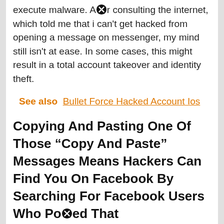execute malware. After consulting the internet, which told me that i can't get hacked from opening a message on messenger, my mind still isn't at ease. In some cases, this might result in a total account takeover and identity theft.
See also  Bullet Force Hacked Account Ios
Copying And Pasting One Of Those "Copy And Paste" Messages Means Hackers Can Find You On Facebook By Searching For Facebook Users Who Posted That